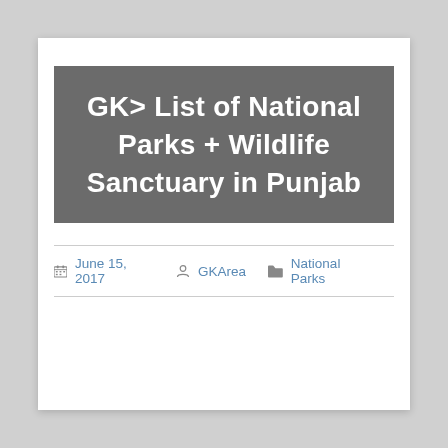GK> List of National Parks + Wildlife Sanctuary in Punjab
June 15, 2017  GKArea  National Parks